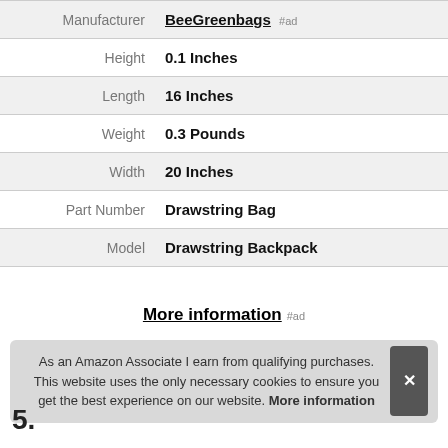| Attribute | Value |
| --- | --- |
| Manufacturer | BeeGreenbags #ad |
| Height | 0.1 Inches |
| Length | 16 Inches |
| Weight | 0.3 Pounds |
| Width | 20 Inches |
| Part Number | Drawstring Bag |
| Model | Drawstring Backpack |
More information #ad
As an Amazon Associate I earn from qualifying purchases. This website uses the only necessary cookies to ensure you get the best experience on our website. More information